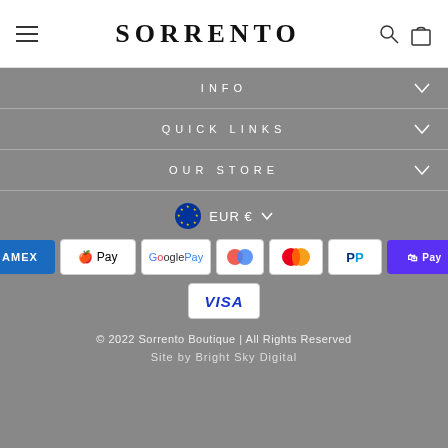SORRENTO
INFO
QUICK LINKS
OUR STORE
EUR €
[Figure (infographic): Payment method icons: American Express, Apple Pay, Google Pay, Shop Pay circles, Mastercard, PayPal, Shop Pay, Visa]
© 2022 Sorrento Boutique | All Rights Reserved
Site by Bright Sky Digital